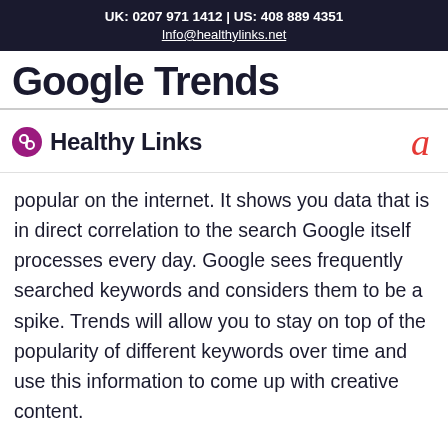UK: 0207 971 1412 | US: 408 889 4351
Info@healthylinks.net
Google Trends
[Figure (logo): Healthy Links logo with chain link icon in purple circle, bold dark text 'Healthy Links', and red italic 'a' on the right]
popular on the internet. It shows you data that is in direct correlation to the search Google itself processes every day. Google sees frequently searched keywords and considers them to be a spike. Trends will allow you to stay on top of the popularity of different keywords over time and use this information to come up with creative content.